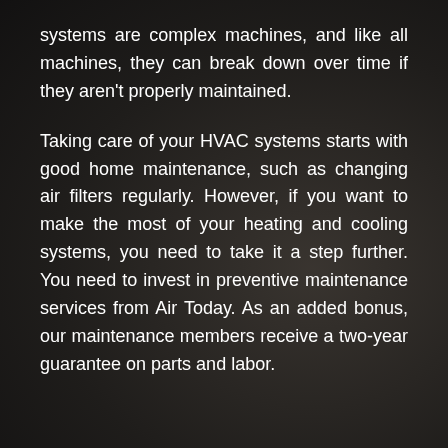[Figure (photo): Dark background photo of HVAC-related machinery/equipment, dimly lit with dark brown and grey tones]
systems are complex machines, and like all machines, they can break down over time if they aren't properly maintained.

Taking care of your HVAC systems starts with good home maintenance, such as changing air filters regularly. However, if you want to make the most of your heating and cooling systems, you need to take it a step further. You need to invest in preventive maintenance services from Air Today. As an added bonus, our maintenance members receive a two-year guarantee on parts and labor.